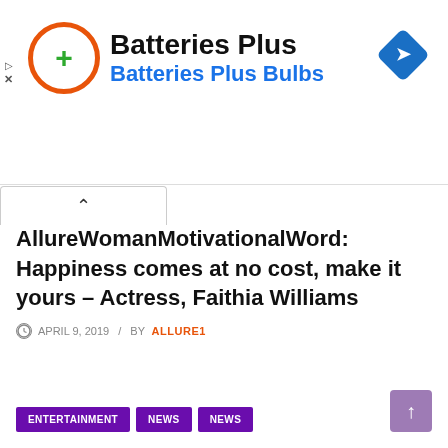[Figure (screenshot): Batteries Plus advertisement banner with orange circular logo containing a green plus sign, bold text 'Batteries Plus' and blue subtitle 'Batteries Plus Bulbs', and a blue diamond navigation icon on the right]
AllureWomanMotivationalWord: Happiness comes at no cost, make it yours – Actress, Faithia Williams
APRIL 9, 2019 / BY ALLURE1
ENTERTAINMENT NEWS NEWS